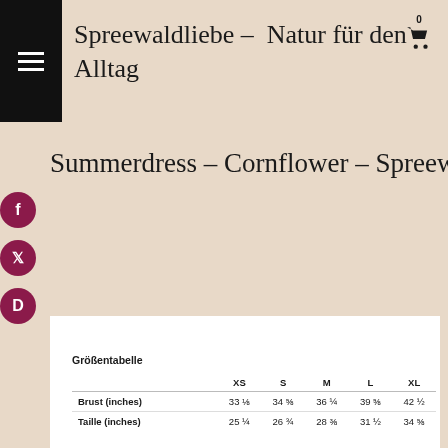Spreewaldliebe – Natur für den Alltag
Summerdress – Cornflower – Spreewaldliebe
Größentabelle
|  | XS | S | M | L | XL |
| --- | --- | --- | --- | --- | --- |
| Brust (inches) | 33 ⅛ | 34 ⅝ | 36 ¼ | 39 ⅝ | 42 ½ |
| Taille (inches) | 25 ¼ | 26 ¾ | 28 ⅜ | 31 ½ | 34 ⅝ |